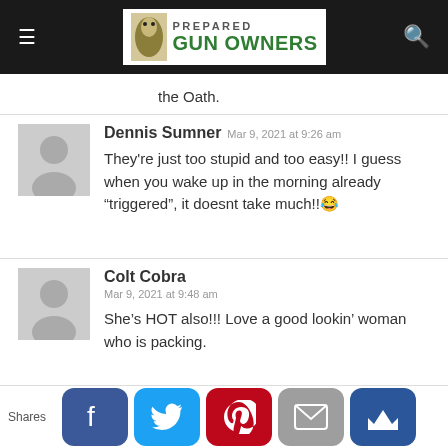Prepared Gun Owners
the Oath.
Dennis Sumner Mar 9, 2021 at 9:26 am
They're just too stupid and too easy!! I guess when you wake up in the morning already “triggered”, it doesnt take much!!😂
Colt Cobra Mar 9, 2021 at 9:48 am
She’s HOT also!!! Love a good lookin’ woman who is packing.
Shares